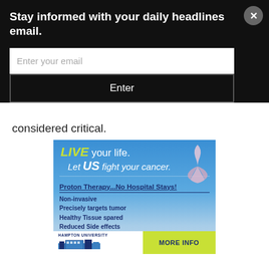Stay informed with your daily headlines email.
considered critical.
[Figure (illustration): Hampton University Proton Therapy advertisement. Shows a hospital building rendering with a pink cancer ribbon. Text reads: LIVE your life. Let US fight your cancer. Proton Therapy...No Hospital Stays! Non-invasive, Precisely targets tumor, Healthy Tissue spared, Reduced Side effects. Hampton University logo at bottom with MORE INFO button.]